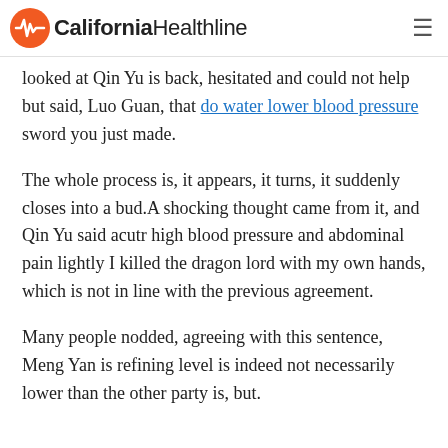California Healthline
looked at Qin Yu is back, hesitated and could not help but said, Luo Guan, that do water lower blood pressure sword you just made.
The whole process is, it appears, it turns, it suddenly closes into a bud.A shocking thought came from it, and Qin Yu said acutr high blood pressure and abdominal pain lightly I killed the dragon lord with my own hands, which is not in line with the previous agreement.
Many people nodded, agreeing with this sentence, Meng Yan is refining level is indeed not necessarily lower than the other party is, but.